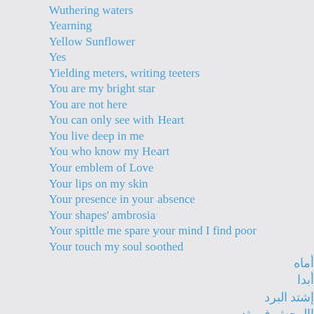Wuthering waters
Yearning
Yellow Sunflower
Yes
Yielding meters, writing teeters
You are my bright star
You are not here
You can only see with Heart
You live deep in me
You who know my Heart
Your emblem of Love
Your lips on my skin
Your presence in your absence
Your shapes' ambrosia
Your spittle me spare your mind I find poor
Your touch my soul soothed
أماه
أبدا
إشتد البرد
االوحش في ثديي
...